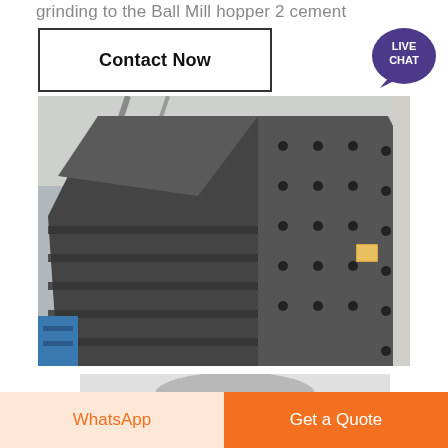grinding to the Ball Mill hopper 2 cement
Contact Now
[Figure (photo): Industrial ball mill hopper component — large dark steel cylindrical/conical structure with bolted plates and internal compartments, photographed in a factory warehouse setting.]
[Figure (photo): Partial view of a gray metallic industrial machine or feeder component, partially cropped at page bottom.]
WhatsApp
Get a Quote